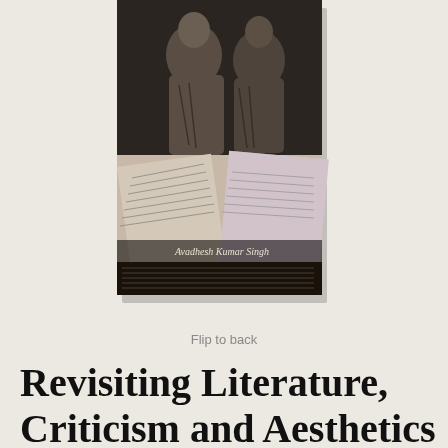[Figure (photo): Book cover of 'Revisiting Literature, Criticism and Aesthetics in India' by Avadhesh Kumar Singh. The cover shows ancient Indian stone sculptures of figures in seated poses at the top, overlaid with text pages/manuscript imagery at the bottom, with the author's name visible.]
Flip to back
Revisiting Literature, Criticism and Aesthetics in India